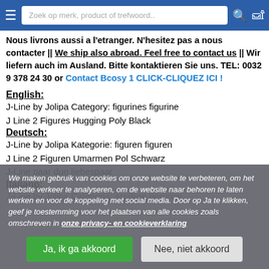Zoek op merk, product of trefwoord..
Nous livrons aussi a l'etranger. N'hesitez pas a nous contacter || We ship also abroad. Feel free to contact us || Wir liefern auch im Ausland. Bitte kontaktieren Sie uns. TEL: 0032 9 378 24 30 or Contact Bcosy 1 CLICK-CLIQUEZ ICI !
English:
J-Line by Jolipa Category: figurines figurine
J Line 2 Figures Hugging Poly Black
Deutsch:
J-Line by Jolipa Kategorie: figuren figuren
J Line 2 Figuren Umarmen Pol Schwarz
J-Line paar duo liebespaar
Italiano:
J-Line by Jolipa Categoria: sculture persone
We maken gebruik van cookies om onze website te verbeteren, om het website verkeer te analyseren, om de website naar behoren te laten werken en voor de koppeling met social media. Door op Ja te klikken, geef je toestemming voor het plaatsen van alle cookies zoals omschreven in onze privacy- en cookieverklaring
Ja, ik ga akkoord | Nee, niet akkoord